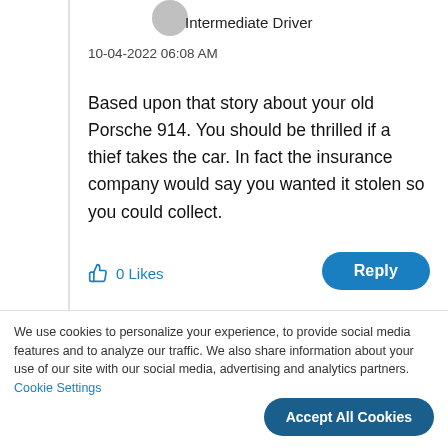Intermediate Driver
10-04-2022 06:08 AM
Based upon that story about your old Porsche 914. You should be thrilled if a thief takes the car. In fact the insurance company would say you wanted it stolen so you could collect.
0 Likes
Reply
We use cookies to personalize your experience, to provide social media features and to analyze our traffic. We also share information about your use of our site with our social media, advertising and analytics partners. Cookie Settings
Accept All Cookies